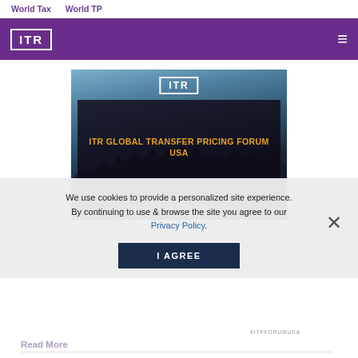World Tax    World TP
[Figure (logo): ITR logo in white on purple header bar with hamburger menu icon]
[Figure (illustration): ITR Global Transfer Pricing Forum USA event banner. Shows ITR logo at top, dark overlay box with orange bold text 'ITR GLOBAL TRANSFER PRICING FORUM USA', subtitle 'September 21, 2022 | New York', hashtag #ITPFORUMUSA, city skyline background]
We use cookies to provide a personalized site experience. By continuing to use & browse the site you agree to our Privacy Policy.
I AGREE
Read More